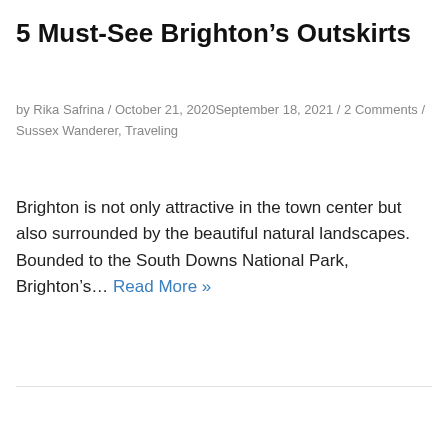5 Must-See Brighton's Outskirts
by Rika Safrina / October 21, 2020September 18, 2021 / 2 Comments / Sussex Wanderer, Traveling
Brighton is not only attractive in the town center but also surrounded by the beautiful natural landscapes. Bounded to the South Downs National Park, Brighton's… Read More »